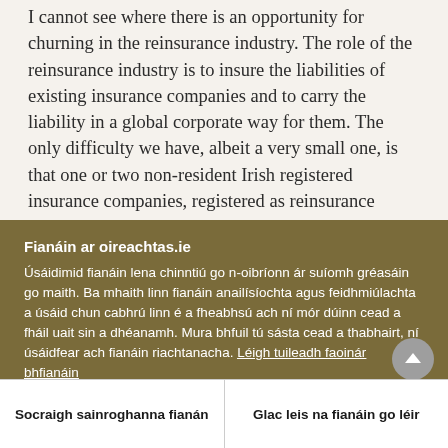I cannot see where there is an opportunity for churning in the reinsurance industry. The role of the reinsurance industry is to insure the liabilities of existing insurance companies and to carry the liability in a global corporate way for them. The only difficulty we have, albeit a very small one, is that one or two non-resident Irish registered insurance companies, registered as reinsurance companies,
Fianáin ar oireachtas.ie
Úsáidimid fianáin lena chinntiú go n-oibríonn ár suíomh gréasáin go maith. Ba mhaith linn fianáin anailísíochta agus feidhmiúlachta a úsáid chun cabhrú linn é a fheabhsú ach ní mór dúinn cead a fháil uait sin a dhéanamh. Mura bhfuil tú sásta cead a thabhairt, ní úsáidfear ach fianáin riachtanacha. Léigh tuileadh faoinár bhfianáin
Socraigh sainroghanna fianán
Glac leis na fianáin go léir